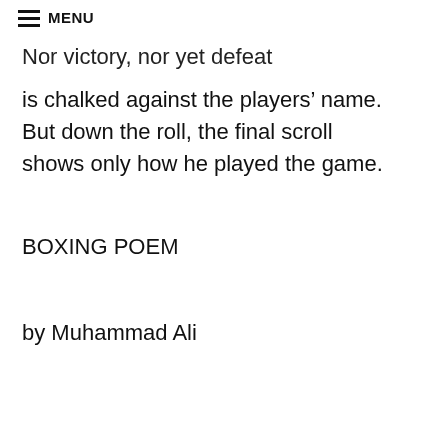≡ MENU
Nor victory, nor yet defeat
is chalked against the players' name.
But down the roll, the final scroll
shows only how he played the game.
BOXING POEM
by Muhammad Ali